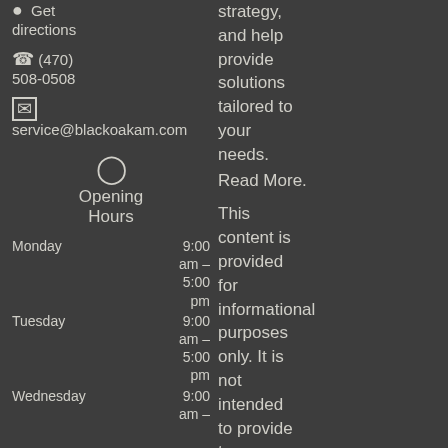strategy, and help provide solutions tailored to your needs.
Read More.
Get directions
(470) 508-0508
service@blackoakam.com
Opening Hours
Monday 9:00 am – 5:00 pm
Tuesday 9:00 am – 5:00 pm
Wednesday 9:00 am –
This content is provided for informational purposes only. It is not intended to provide tax or legal advice.